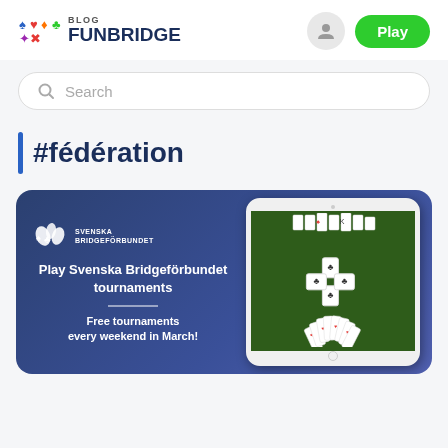[Figure (logo): Funbridge Blog logo with card suit symbols and colorful icons on the left, 'BLOG' text and 'FUNBRIDGE' in dark blue bold text]
[Figure (other): User account icon (person silhouette in grey circle) and green Play button]
Search
#fédération
[Figure (illustration): Promotional card for Svenska Bridgeförbundet tournaments on a dark blue background. Left side shows Svenska Bridgeförbundet logo (white flower/card suits icon) with text 'Play Svenska Bridgeförbundet tournaments' and 'Free tournaments every weekend in March!'. Right side shows a tablet device displaying a bridge card game in progress on a green table.]